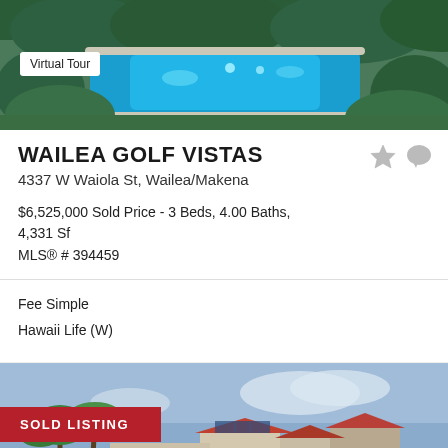[Figure (photo): Aerial view of swimming pool surrounded by tropical greenery with Virtual Tour badge overlay]
WAILEA GOLF VISTAS
4337 W Waiola St, Wailea/Makena
$6,525,000 Sold Price - 3 Beds, 4.00 Baths, 4,331 Sf
MLS® # 394459
Fee Simple
Hawaii Life (W)
[Figure (photo): Exterior photo of luxury home with palm trees and SOLD LISTING badge overlay]
Ask about this Property